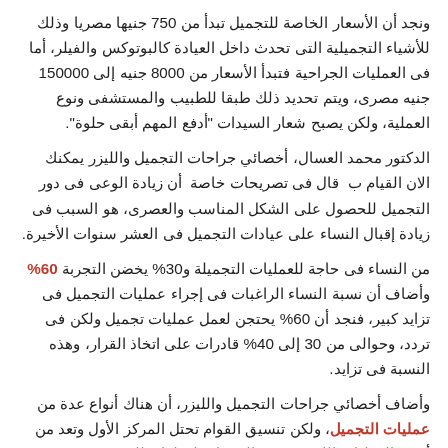ونجد أن الأسعار الخاصة للتجميل تبدأ من 750 جنيها مصريا وذلك للأشياء التجميلية التى تحدث داخل العيادة كالبوتوكس والفيلر، أما فى العمليات الجراحية فتبدأ الأسعار من 8000 جنيه إلى 150000 جنيه مصرى، ويتم تحديد ذلك طبقا للطبيب والمستشفى ونوع العملية، ولكن يصبح شعار السيدات "أدفع المهم أبقى حلوة".
الدكتور محمد العسال، أخصائي جراحات التجميل والليزر يمكنك الان القيام ب  قال فى تصريحات خاصة  أن زيادة الوعى فى دور التجميل للحصول على الشكل المناسب والعصرى، هو السبب فى زيادة إقبال النساء على عيادات التجميل فى العشر سنوات الأخيرة.
من النساء فى حاجة للعمليات التجميلة و30% يخضن التجربة 60% وأضاف أن نسبة النساء الراغبات فى إجراء عمليات التجميل فى تزايد كبير، فنجد أن 60% يحتجن لعمل عمليات تجميل ولكن فى تردد، وحوالى من 30 إلى 40% قادرات على اتخاذ القرار، وهذه النسبة فى تزايد.
وأضاف أخصائي جراحات التجميل والليزر، أن هناك أنواع عدة من عمليات التجميل، ولكن تنسيق القوام تحتل المركز الأول وتعد من أشهر العمليات اللاتى تسعى السيدات لفعلها، وللتوضيح يجب التعرف على أنواع عمليات التجميل، وهم: